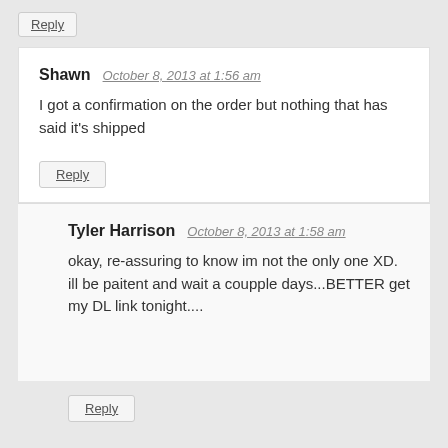Reply
Shawn  October 8, 2013 at 1:56 am
I got a confirmation on the order but nothing that has said it's shipped
Reply
Tyler Harrison  October 8, 2013 at 1:58 am
okay, re-assuring to know im not the only one XD. ill be paitent and wait a coupple days...BETTER get my DL link tonight....
Reply